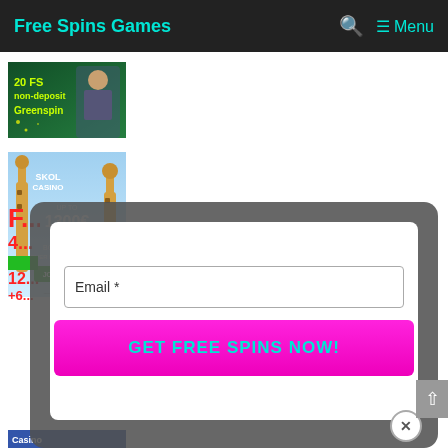Free Spins Games   🔍  ☰ Menu
[Figure (photo): Greenspin casino banner: '20 FS non-deposit Greenspin' with anime detective character]
[Figure (photo): Skol Casino banner: 'UP TO 1300€ + 250 BONUS SPINS OVER FIRST 5 DEPOSITS' with giraffe image and 'JOIN THE FUN' button]
[Figure (screenshot): Email signup popup with 'Email *' input field and 'GET FREE SPINS NOW!' button in magenta, with close X button]
[Figure (photo): Partially visible casino banner at bottom left, partially hidden by popup]